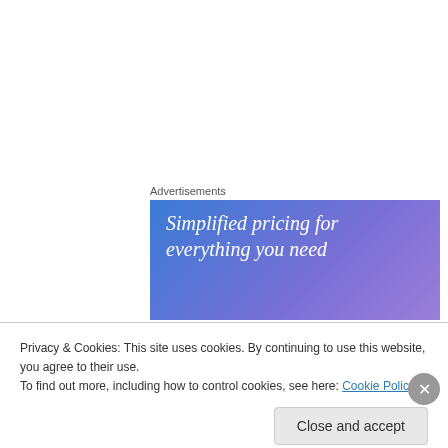Advertisements
[Figure (illustration): Advertisement banner with blue-purple gradient background and white italic text reading 'Simplified pricing for everything you need']
Charles Frith on April 29, 2013 at 1:27 am
The proximity of Blair to paedophiles is a mirror of Thatcher. I can name all the names in both
Privacy & Cookies: This site uses cookies. By continuing to use this website, you agree to their use.
To find out more, including how to control cookies, see here: Cookie Policy
Close and accept